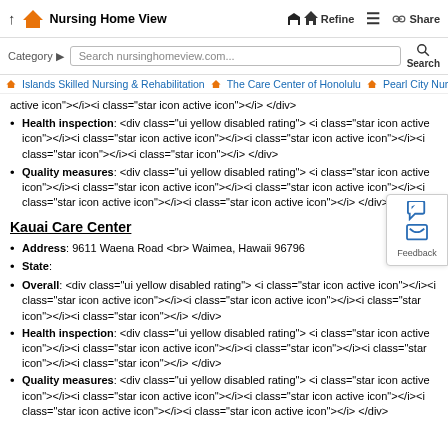↑ 🏠 Nursing Home View | Refine ☰ Share
Category ▶ Search nursinghomeview.com... Search
Islands Skilled Nursing & Rehabilitation | The Care Center of Honolulu | Pearl City Nursing Home
active icon"></i><i class="star icon active icon"></i> </div>
Health inspection: <div class="ui yellow disabled rating"> <i class="star icon active icon"></i><i class="star icon active icon"></i><i class="star icon active icon"></i><i class="star icon"></i><i class="star icon"></i> </div>
Quality measures: <div class="ui yellow disabled rating"> <i class="star icon active icon"></i><i class="star icon active icon"></i><i class="star icon active icon"></i><i class="star icon active icon"></i><i class="star icon active icon"></i> </div>
Kauai Care Center
Address: 9611 Waena Road <br> Waimea, Hawaii 96796
State:
Overall: <div class="ui yellow disabled rating"> <i class="star icon active icon"></i><i class="star icon active icon"></i><i class="star icon active icon"></i><i class="star icon"></i><i class="star icon"></i> </div>
Health inspection: <div class="ui yellow disabled rating"> <i class="star icon active icon"></i><i class="star icon active icon"></i><i class="star icon"></i><i class="star icon"></i><i class="star icon"></i> </div>
Quality measures: <div class="ui yellow disabled rating"> <i class="star icon active icon"></i><i class="star icon active icon"></i><i class="star icon active icon"></i><i class="star icon active icon"></i><i class="star icon active icon"></i> </div>